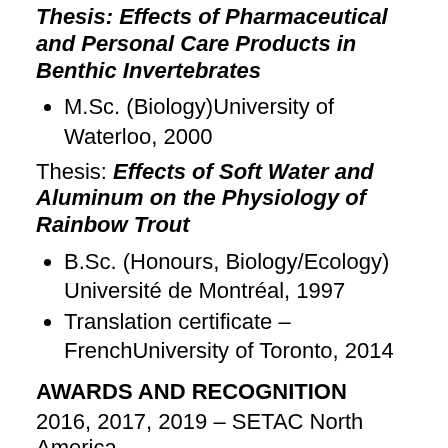Thesis: Effects of Pharmaceutical and Personal Care Products in Benthic Invertebrates
M.Sc. (Biology)University of Waterloo, 2000
Thesis: Effects of Soft Water and Aluminum on the Physiology of Rainbow Trout
B.Sc. (Honours, Biology/Ecology) Université de Montréal, 1997
Translation certificate – FrenchUniversity of Toronto, 2014
AWARDS AND RECOGNITION
2016, 2017, 2019 – SETAC North America